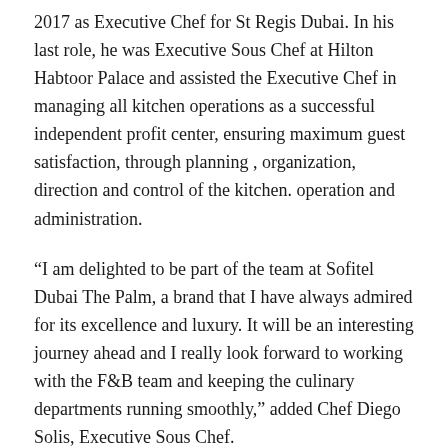2017 as Executive Chef for St Regis Dubai. In his last role, he was Executive Sous Chef at Hilton Habtoor Palace and assisted the Executive Chef in managing all kitchen operations as a successful independent profit center, ensuring maximum guest satisfaction, through planning , organization, direction and control of the kitchen. operation and administration.
“I am delighted to be part of the team at Sofitel Dubai The Palm, a brand that I have always admired for its excellence and luxury. It will be an interesting journey ahead and I really look forward to working with the F&B team and keeping the culinary departments running smoothly,” added Chef Diego Solis, Executive Sous Chef.
Chef Akshay Batra is an award-winning Pastry Chef of the Year 2021 with over 15 years of experience and a proven track record as well as a wide variety of specialties in the F&B and Culinary industry. At Sofitel Dubai The Palm, he will now lead and oversee the dessert and bakery division of all restaurants and lounges,